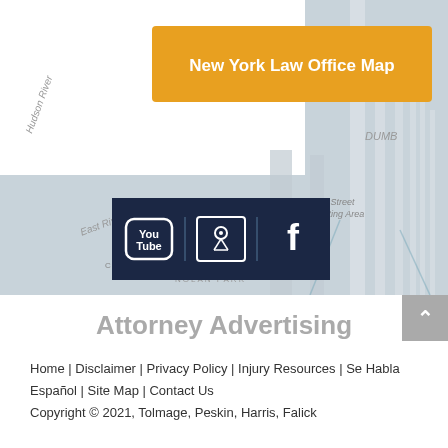[Figure (map): Google map screenshot showing New York area with Hudson River, East River, Fruit Street Sitting Area, Colonels Row, Nolan Park labeled. Orange button overlay reading 'New York Law Office Map'. Social media icons bar (YouTube, Google, Facebook) overlaid on map.]
[Figure (infographic): Social media icons bar with dark navy background showing YouTube, Google Maps, and Facebook icons separated by diagonal lines]
Attorney Advertising
Home | Disclaimer | Privacy Policy | Injury Resources | Se Habla Español | Site Map | Contact Us
Copyright © 2021, Tolmage, Peskin, Harris, Falick